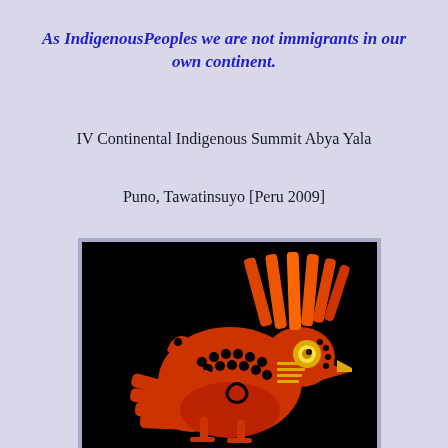As IndigenousPeoples we are not immigrants in our own continent.
IV Continental Indigenous Summit Abya Yala
Puno, Tawatinsuyo [Peru 2009]
[Figure (illustration): Indigenous bird figure (condor/eagle) rendered in orange and gold on black background, in pre-Columbian artistic style]